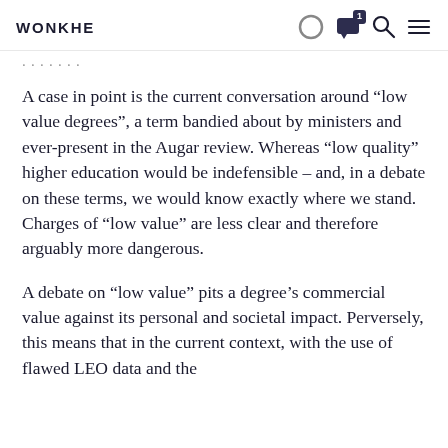WONKHE
…
A case in point is the current conversation around “low value degrees”, a term bandied about by ministers and ever-present in the Augar review. Whereas “low quality” higher education would be indefensible – and, in a debate on these terms, we would know exactly where we stand. Charges of “low value” are less clear and therefore arguably more dangerous.
A debate on “low value” pits a degree’s commercial value against its personal and societal impact. Perversely, this means that in the current context, with the use of flawed LEO data and the